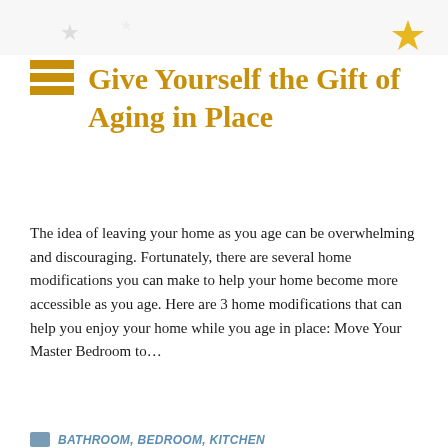[Figure (other): Decorative top area with star emoji and light background]
Give Yourself the Gift of Aging in Place
The idea of leaving your home as you age can be overwhelming and discouraging. Fortunately, there are several home modifications you can make to help your home become more accessible as you age. Here are 3 home modifications that can help you enjoy your home while you age in place: Move Your Master Bedroom to…
BATHROOM, BEDROOM, KITCHEN
[Figure (photo): Overhead photo of Thanksgiving food spread with hands, pumpkins, and festive dishes. Overlay reads 'Happy Thanks' in bold dark red text on white background.]